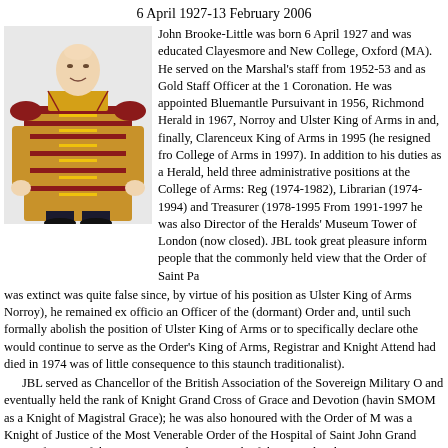6 April 1927-13 February 2006
[Figure (photo): Portrait photo of John Brooke-Little dressed in ornate ceremonial heraldic robes, gold and red with intricate embroidery, standing against a white background.]
John Brooke-Little was born 6 April 1927 and was educated Clayesmore and New College, Oxford (MA). He served on the Marshal's staff from 1952-53 and as Gold Staff Officer at the Coronation. He was appointed Bluemantle Pursuivant in 1956, Richmond Herald in 1967, Norroy and Ulster King of Arms in and, finally, Clarenceux King of Arms in 1995 (he resigned fro College of Arms in 1997). In addition to his duties as a Herald, held three administrative positions at the College of Arms: Reg (1974-1982), Librarian (1974-1994) and Treasurer (1978-1995 From 1991-1997 he was also Director of the Heralds' Museum Tower of London (now closed). JBL took great pleasure inform people that the commonly held view that the Order of Saint Pa was extinct was quite false since, by virtue of his position as Ulster King of Arms Norroy), he remained ex officio an Officer of the (dormant) Order and, until such formally abolish the position of Ulster King of Arms or to specifically declare othe would continue to serve as the Order's King of Arms, Registrar and Knight Attend had died in 1974 was of little consequence to this staunch traditionalist).
JBL served as Chancellor of the British Association of the Sovereign Military O and eventually held the rank of Knight Grand Cross of Grace and Devotion (havin SMOM as a Knight of Magistral Grace); he was also honoured with the Order of M was a Knight of Justice of the Most Venerable Order of the Hospital of Saint John Grand Cross of Grace of the Franco-Neapolitan Branch of the Sacred Military Con George (British Delegation) and also held the Cruz Distinguida (1st class) de San
Other positions held by JBL included: Honorary Fellow of the Institute of Heral Master of the Scriveners' Company (1985-1986); Chairman of the Council of the the British Insurance Attorneys Trust (1995-1999) and Treasurer of the RAF Me